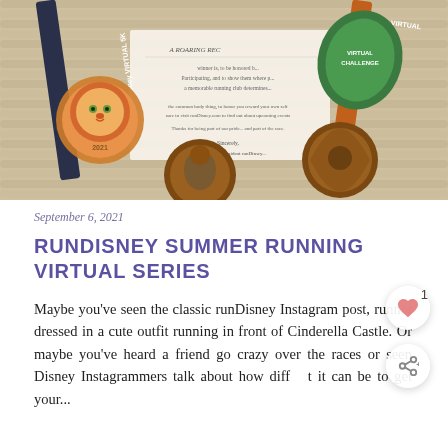[Figure (photo): runDisney virtual race medals including a Simba (Lion King) medal and other medals with colorful ribbons, laid on a textured woven surface with a certificate letter visible]
September 6, 2021
RUNDISNEY SUMMER RUNNING VIRTUAL SERIES
Maybe you've seen the classic runDisney Instagram post, runner dressed in a cute outfit running in front of Cinderella Castle. Or maybe you've heard a friend go crazy over the races or seen Disney Instagrammers talk about how diff  t it can be to get your...